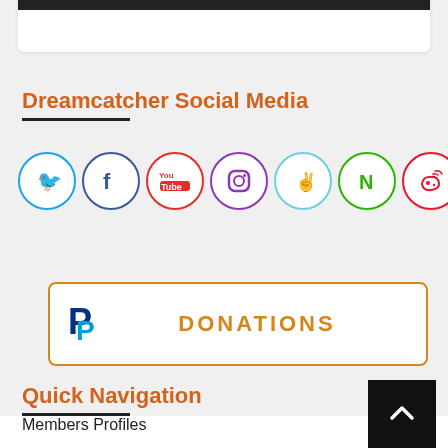[Figure (screenshot): Top card/bar element partially visible at top of page]
Dreamcatcher Social Media
[Figure (infographic): Row of 7 social media icon circles: Twitter (blue), Facebook (dark blue), YouTube (red), Instagram (purple), V (light blue), N (green), Weibo (red)]
[Figure (other): PayPal + DONATIONS button with orange border]
Quick Navigation
Members Profiles